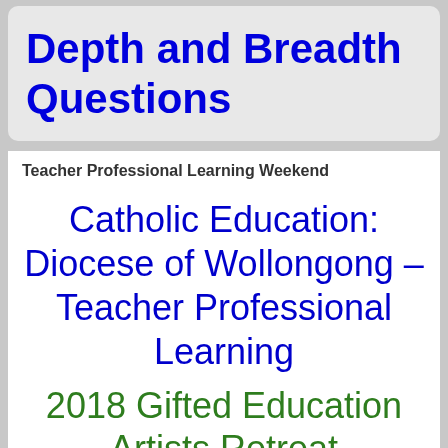Depth and Breadth Questions
Teacher Professional Learning Weekend
Catholic Education: Diocese of Wollongong – Teacher Professional Learning
2018 Gifted Education Artists Retreat